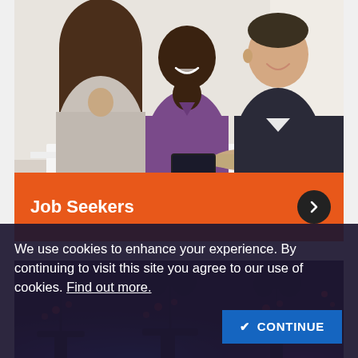[Figure (photo): Three people at a white table in a bright office setting — a woman seen from behind with long brown hair, a smiling Black man in a purple shirt, and a smiling white man in a dark blazer shaking hands or greeting across the table.]
Job Seekers
[Figure (photo): Event venue with dramatic purple and blue uplighting, silhouettes of decorative trees and floral centerpieces on tables.]
We use cookies to enhance your experience. By continuing to visit this site you agree to our use of cookies. Find out more.